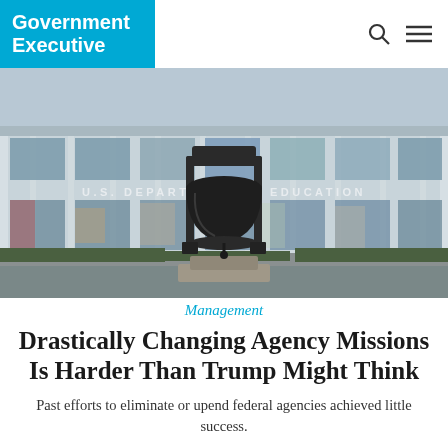Government Executive
[Figure (photo): Exterior of the U.S. Department of Education building with a large liberty bell sculpture in the foreground. The building facade shows the inscription 'U.S. DEPARTMENT OF EDUCATION' and features large windows with murals visible inside.]
Management
Drastically Changing Agency Missions Is Harder Than Trump Might Think
Past efforts to eliminate or upend federal agencies achieved little success.